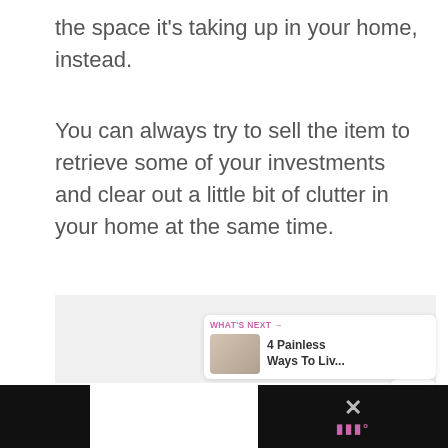the space it’s taking up in your home, instead.
You can always try to sell the item to retrieve some of your investments and clear out a little bit of clutter in your home at the same time.
[Figure (screenshot): Gray image placeholder area with social interaction buttons (heart icon with pink background, count of 3, share icon) on the right side, and a 'What's Next' widget showing '4 Painless Ways To Liv...' with a thumbnail image. Bottom of page shows a dark advertisement bar with an X close button and a logo.]